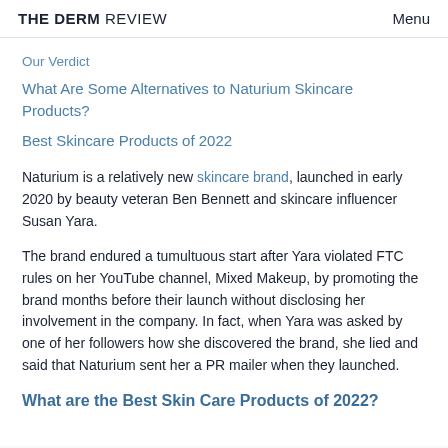THE DERM REVIEW   Menu
Our Verdict
What Are Some Alternatives to Naturium Skincare Products?
Best Skincare Products of 2022
Naturium is a relatively new skincare brand, launched in early 2020 by beauty veteran Ben Bennett and skincare influencer Susan Yara.
The brand endured a tumultuous start after Yara violated FTC rules on her YouTube channel, Mixed Makeup, by promoting the brand months before their launch without disclosing her involvement in the company. In fact, when Yara was asked by one of her followers how she discovered the brand, she lied and said that Naturium sent her a PR mailer when they launched.
What are the Best Skin Care Products of 2022?